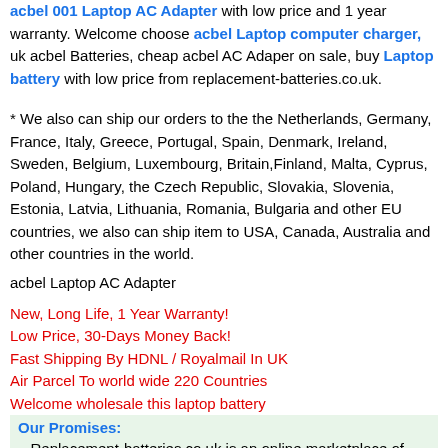acbel 001 Laptop AC Adapter with low price and 1 year warranty. Welcome choose acbel Laptop computer charger, uk acbel Batteries, cheap acbel AC Adaper on sale, buy Laptop battery with low price from replacement-batteries.co.uk.
* We also can ship our orders to the the Netherlands, Germany, France, Italy, Greece, Portugal, Spain, Denmark, Ireland, Sweden, Belgium, Luxembourg, Britain,Finland, Malta, Cyprus, Poland, Hungary, the Czech Republic, Slovakia, Slovenia, Estonia, Latvia, Lithuania, Romania, Bulgaria and other EU countries, we also can ship item to USA, Canada, Australia and other countries in the world.
acbel Laptop AC Adapter
New, Long Life, 1 Year Warranty!
Low Price, 30-Days Money Back!
Fast Shipping By HDNL / Royalmail In UK
Air Parcel To world wide 220 Countries
Welcome wholesale this laptop battery
Our Promises:
Replacement-batteries.co.uk is an online marketplace of replacement batteries, ac adapters and other products in United Kingdom.We warrant that all products sold in our website are high quality and free from defects in material and workmanship - We warrant that all the items will be checked and tested for the second time before send it out.- We offer 1 year warranty and 30 days money back GUARANTEE. --We warrrant that every customer shopping with us is safe and secure. If you are not satisfied with our products for any reason, please don't hesitate to contact us, we will